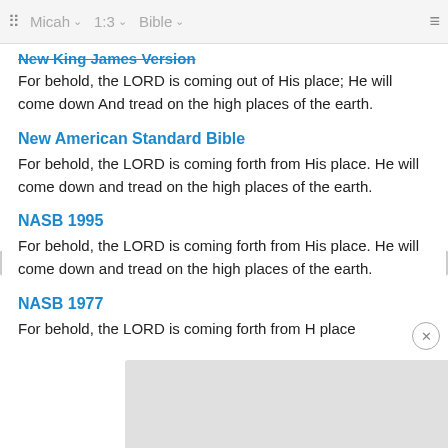⠿  Micah ⌄  1:3 ⌄  Bible ⌄  ≡
New King James Version
For behold, the LORD is coming out of His place; He will come down And tread on the high places of the earth.
New American Standard Bible
For behold, the LORD is coming forth from His place. He will come down and tread on the high places of the earth.
NASB 1995
For behold, the LORD is coming forth from His place. He will come down and tread on the high places of the earth.
NASB 1977
For behold, the LORD is coming forth from H place places of the earth.